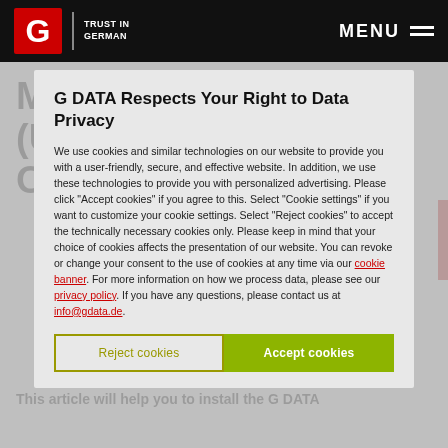G DATA — TRUST IN GERMAN | MENU
G DATA Respects Your Right to Data Privacy
We use cookies and similar technologies on our website to provide you with a user-friendly, secure, and effective website. In addition, we use these technologies to provide you with personalized advertising. Please click "Accept cookies" if you agree to this. Select "Cookie settings" if you want to customize your cookie settings. Select "Reject cookies" to accept the technically necessary cookies only. Please keep in mind that your choice of cookies affects the presentation of our website. You can revoke or change your consent to the use of cookies at any time via our cookie banner. For more information on how we process data, please see our privacy policy. If you have any questions, please contact us at info@gdata.de.
Reject cookies | Accept cookies
ManagementServe (Using your Login Credentials)
This article will help you to install the G DATA